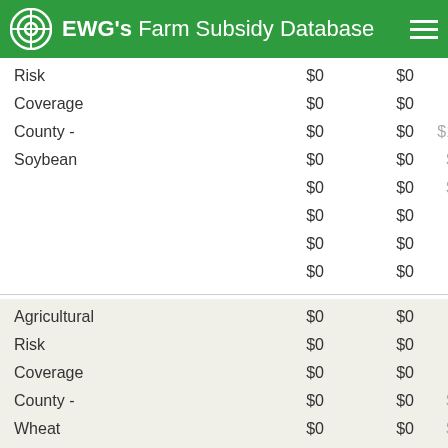EWG's Farm Subsidy Database
|  |  |  |  |
| --- | --- | --- | --- |
| Risk | $0 | $0 |  |
| Coverage | $0 | $0 |  |
| County - | $0 | $0 | $13 |
| Soybean | $0 | $0 | $4 |
|  | $0 | $0 | $7 |
|  | $0 | $0 |  |
|  | $0 | $0 |  |
|  | $0 | $0 |  |
|  |  |  |  |
| --- | --- | --- | --- |
| Agricultural | $0 | $0 |  |
| Risk | $0 | $0 |  |
| Coverage | $0 | $0 |  |
| County - | $0 | $0 | $1 |
| Wheat | $0 | $0 | $1 |
|  | $0 | $0 |  |
|  | $0 | $0 |  |
|  | $0 | $0 |  |